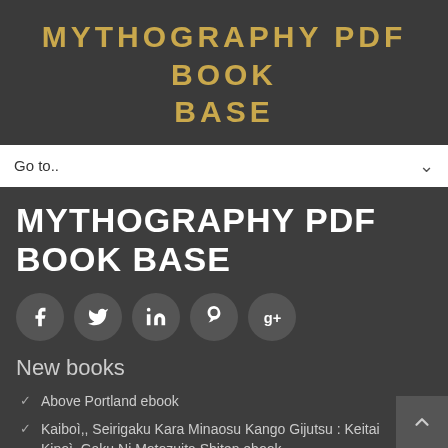MYTHOGRAPHY PDF BOOK BASE
Go to..
MYTHOGRAPHY PDF BOOK BASE
[Figure (infographic): Five social media icon circles: Facebook (f), Twitter (bird), LinkedIn (in), Pinterest (p), Google+ (g+)]
New books
Above Portland ebook
Kaiboì,, Seirigaku Kara Minaosu Kango Gijutsu : Keitai Kinoì,,Gaku Ni Motozuita Shiten ebook